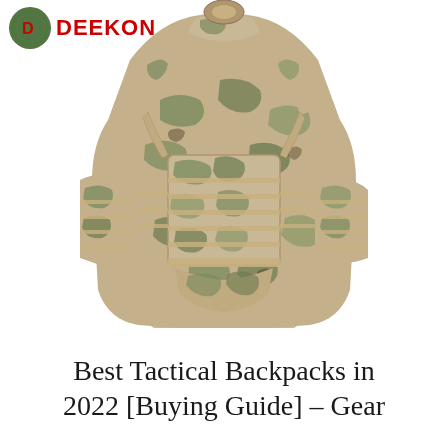[Figure (logo): DEEKON brand logo with circular green radar/target emblem and red DEEKON text]
[Figure (photo): Multicam camouflage tactical plate carrier / body armor vest displayed on white background, front view, featuring MOLLE webbing, side pouches, shoulder straps, and chest rig with multiple attachment strips in tan and green camo pattern]
Best Tactical Backpacks in 2022 [Buying Guide] – Gear